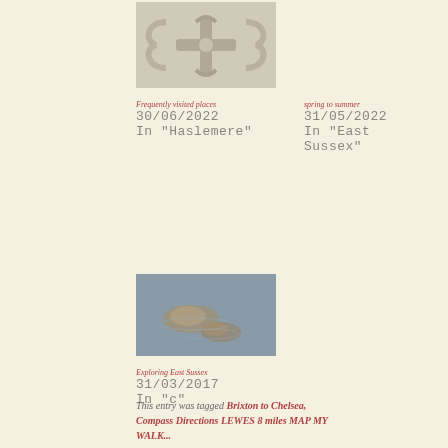[Figure (photo): Close-up photo of ornamental stone or plaster decoration with curved fleur-de-lis style motifs on a light grey background]
Frequently visited places
30/06/2022
In "Haslemere"
spring to summer
31/05/2022
In "East Sussex"
[Figure (photo): Photo of frogs or aquatic creatures in grey-blue water]
Exploring East Sussex
31/03/2017
In "c"
This entry was tagged Brixton to Chelsea, Compass Directions LEWES 8 miles MAP MY WALK ...